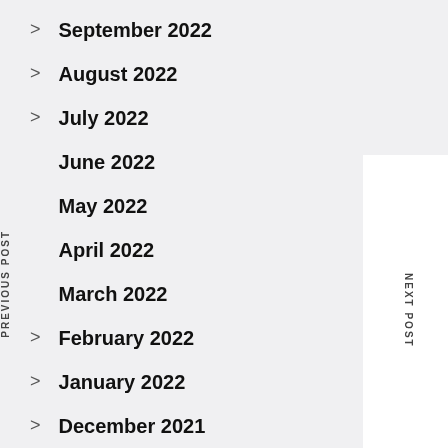> September 2022
> August 2022
> July 2022
> June 2022
> May 2022
> April 2022
> March 2022
> February 2022
> January 2022
> December 2021
> November 2021
PREVIOUS POST
NEXT POST